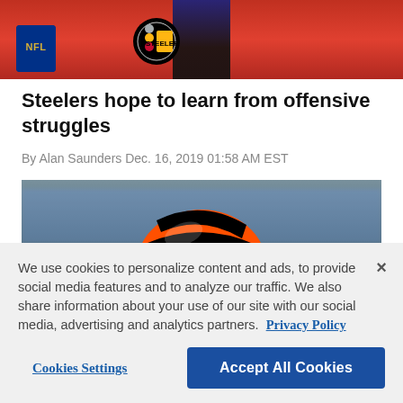[Figure (photo): Top portion of a news article showing a person in a red jacket with NFL and Pittsburgh Steelers logos visible in the background]
Steelers hope to learn from offensive struggles
By Alan Saunders Dec. 16, 2019 01:58 AM EST
[Figure (photo): A Cincinnati Bengals player wearing an orange helmet with black stripes, blurred background of stadium crowd]
We use cookies to personalize content and ads, to provide social media features and to analyze our traffic. We also share information about your use of our site with our social media, advertising and analytics partners. Privacy Policy
Cookies Settings | Accept All Cookies